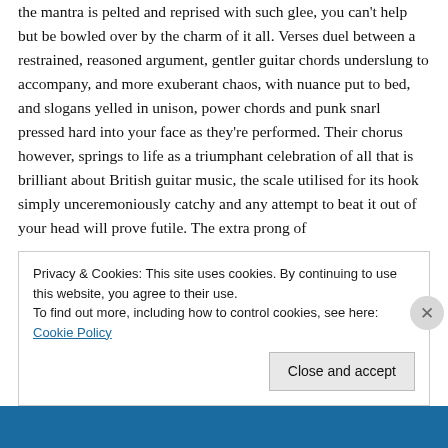the mantra is pelted and reprised with such glee, you can't help but be bowled over by the charm of it all. Verses duel between a restrained, reasoned argument, gentler guitar chords underslung to accompany, and more exuberant chaos, with nuance put to bed, and slogans yelled in unison, power chords and punk snarl pressed hard into your face as they're performed. Their chorus however, springs to life as a triumphant celebration of all that is brilliant about British guitar music, the scale utilised for its hook simply unceremoniously catchy and any attempt to beat it out of your head will prove futile. The extra prong of
Privacy & Cookies: This site uses cookies. By continuing to use this website, you agree to their use.
To find out more, including how to control cookies, see here: Cookie Policy